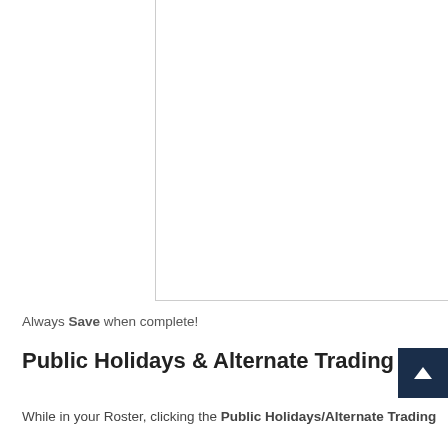[Figure (screenshot): Top portion of a web page showing a white content area with a vertical line dividing the page into a left navigation panel and a right content panel. The right panel has a bottom border line.]
Always Save when complete!
Public Holidays & Alternate Trading Ho...
While in your Roster, clicking the Public Holidays/Alternate Trading Hours will...